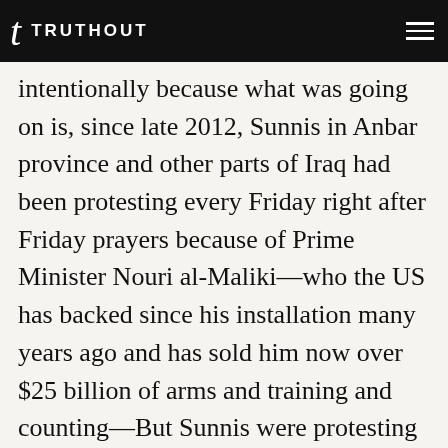TRUTHOUT
intentionally because what was going on is, since late 2012, Sunnis in Anbar province and other parts of Iraq had been protesting every Friday right after Friday prayers because of Prime Minister Nouri al-Maliki—who the US has backed since his installation many years ago and has sold him now over $25 billion of arms and training and counting—But Sunnis were protesting against him because he was sending the military into Sunni towns, Sunni enclaves and killing people, detaining people and then, once they were detained, torturing them. There